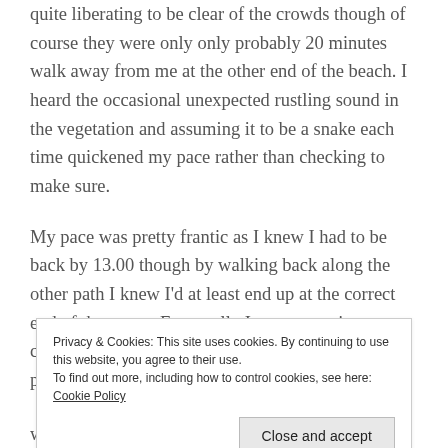quite liberating to be clear of the crowds though of course they were only only probably 20 minutes walk away from me at the other end of the beach. I heard the occasional unexpected rustling sound in the vegetation and assuming it to be a snake each time quickened my pace rather than checking to make sure.
My pace was pretty frantic as I knew I had to be back by 13.00 though by walking back along the other path I knew I'd at least end up at the correct end of the resort. Eventually I came to a sign at a crossroads saying the desserts were only 700m so I pushed on. When I came
Privacy & Cookies: This site uses cookies. By continuing to use this website, you agree to their use.
To find out more, including how to control cookies, see here: Cookie Policy
without any shade the heat was very strong. There was